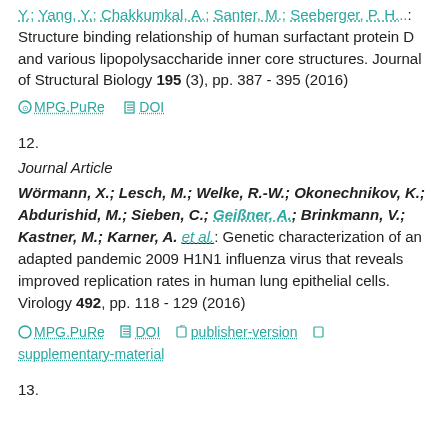Y.; Yang, Y.; Chakkumkal, A.; Santer, M.; Seeberger, P. H.: Structure binding relationship of human surfactant protein D and various lipopolysaccharide inner core structures. Journal of Structural Biology 195 (3), pp. 387 - 395 (2016)
MPG.PuRe   DOI
12.
Journal Article
Wörmann, X.; Lesch, M.; Welke, R.-W.; Okonechnikov, K.; Abdurishid, M.; Sieben, C.; Geißner, A.; Brinkmann, V.; Kastner, M.; Karner, A. et al.: Genetic characterization of an adapted pandemic 2009 H1N1 influenza virus that reveals improved replication rates in human lung epithelial cells. Virology 492, pp. 118 - 129 (2016)
MPG.PuRe   DOI   publisher-version   supplementary-material
13.